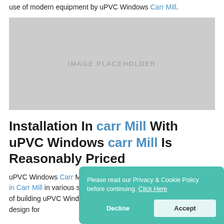use of modern equipment by uPVC Windows Carr Mill.
[Figure (photo): Image placeholder — grey rectangle with centered text 'IMAGE PLACEHOLDER']
Installation In carr Mill With uPVC Windows carr Mill Is Reasonably Priced
uPVC Windows Carr Mill provides uPVC windows and uPVC roof in Carr Mill in various styles and plans. If you have a unique type of building uPVC Windows Carr Mill will come up with a custom design for
Please read our Privacy & Cookie Policy before continuing. Click Here